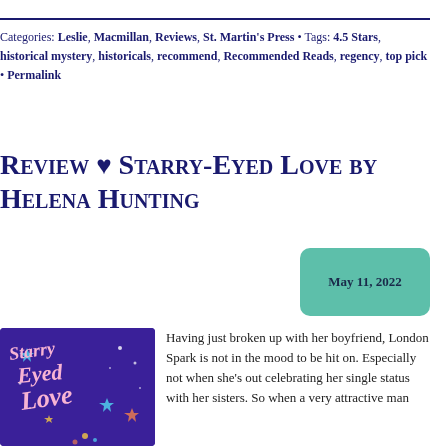Categories: Leslie, Macmillan, Reviews, St. Martin's Press • Tags: 4.5 Stars, historical mystery, historicals, recommend, Recommended Reads, regency, top pick • Permalink
Review ♥ Starry-Eyed Love by Helena Hunting
May 11, 2022
[Figure (illustration): Book cover of Starry-Eyed Love by Helena Hunting with purple background and decorative script lettering]
Having just broken up with her boyfriend, London Spark is not in the mood to be hit on. Especially not when she's out celebrating her single status with her sisters. So when a very attractive man